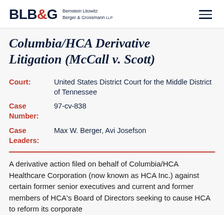BLB&G Bernstein Litowitz Berger & Grossmann LLP
Columbia/HCA Derivative Litigation (McCall v. Scott)
Court: United States District Court for the Middle District of Tennessee
Case Number: 97-cv-838
Case Leaders: Max W. Berger, Avi Josefson
A derivative action filed on behalf of Columbia/HCA Healthcare Corporation (now known as HCA Inc.) against certain former senior executives and current and former members of HCA's Board of Directors seeking to cause HCA to reform its corporate